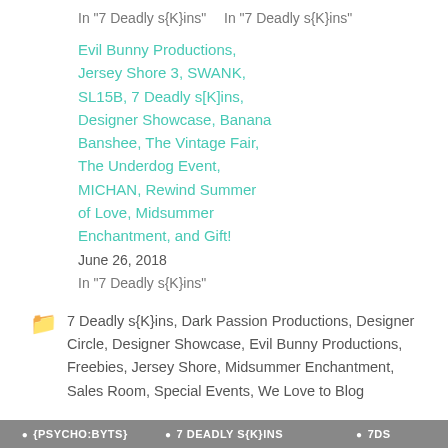In "7 Deadly s{K}ins"
In "7 Deadly s{K}ins"
Evil Bunny Productions, Jersey Shore 3, SWANK, SL15B, 7 Deadly s[K]ins, Designer Showcase, Banana Banshee, The Vintage Fair, The Underdog Event, MICHAN, Rewind Summer of Love, Midsummer Enchantment, and Gift!
June 26, 2018
In "7 Deadly s{K}ins"
7 Deadly s{K}ins, Dark Passion Productions, Designer Circle, Designer Showcase, Evil Bunny Productions, Freebies, Jersey Shore, Midsummer Enchantment, Sales Room, Special Events, We Love to Blog
{PSYCHO:BYTS}
7 DEADLY S{K}INS
7DS